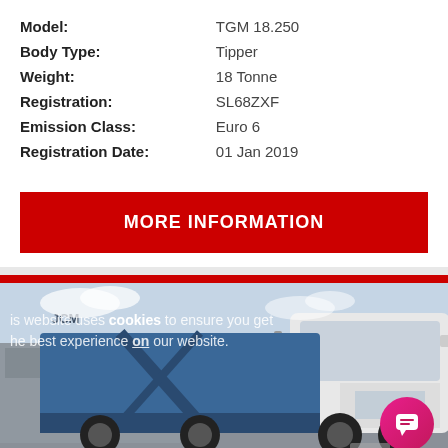| Model: | TGM 18.250 |
| Body Type: | Tipper |
| Weight: | 18 Tonne |
| Registration: | SL68ZXF |
| Emission Class: | Euro 6 |
| Registration Date: | 01 Jan 2019 |
MORE INFORMATION
[Figure (photo): A white MAN TGM tipper truck with blue skip loader body, photographed in a yard. A cookie consent overlay is partially visible on the image. A pink chat bubble icon appears in the bottom right corner.]